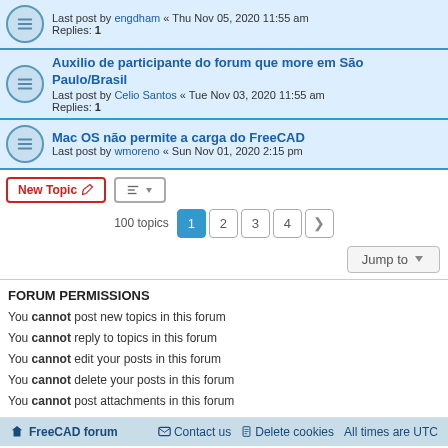Last post by engdham « Thu Nov 05, 2020 11:55 am Replies: 1
Auxilio de participante do forum que more em São Paulo/Brasil - Last post by Celio Santos « Tue Nov 03, 2020 11:55 am Replies: 1
Mac OS não permite a carga do FreeCAD - Last post by wmoreno « Sun Nov 01, 2020 2:15 pm
100 topics  1 2 3 4 >
FORUM PERMISSIONS
You cannot post new topics in this forum
You cannot reply to topics in this forum
You cannot edit your posts in this forum
You cannot delete your posts in this forum
You cannot post attachments in this forum
FreeCAD forum   Contact us   Delete cookies   All times are UTC
Powered by phpBB® Forum Software © phpBB Limited  Privacy | Terms